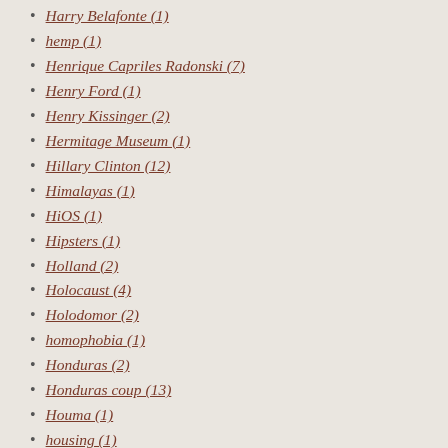Harry Belafonte (1)
hemp (1)
Henrique Capriles Radonski (7)
Henry Ford (1)
Henry Kissinger (2)
Hermitage Museum (1)
Hillary Clinton (12)
Himalayas (1)
HiOS (1)
Hipsters (1)
Holland (2)
Holocaust (4)
Holodomor (2)
homophobia (1)
Honduras (2)
Honduras coup (13)
Houma (1)
housing (1)
Huey Long (1)
Hugo Chavez (126)
Human Rights (1)
Hungarian (1)
Hungarians (1)
Hungary (7)
hunting (1)
Hurricane Alex (1)